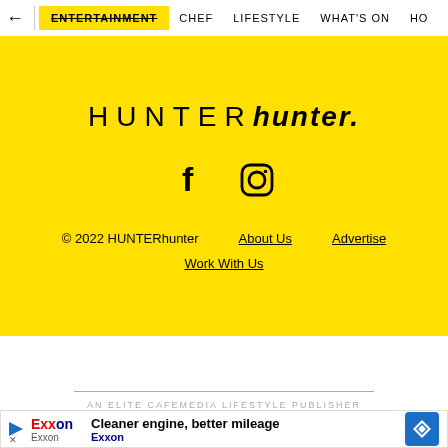ENTERTAINMENT  CHEF  LIFESTYLE  WHAT'S ON
HUNTERhunter.
[Figure (illustration): Facebook and Instagram social media icons in black on yellow background]
© 2022 HUNTERhunter   About Us   Advertise   Work With Us
AN ELITE CAFEMEDIA LIFESTYLE PUBLISHER
[Figure (other): Exxon advertisement: Cleaner engine, better mileage. Exxon logo with play button and blue diamond navigation icon.]